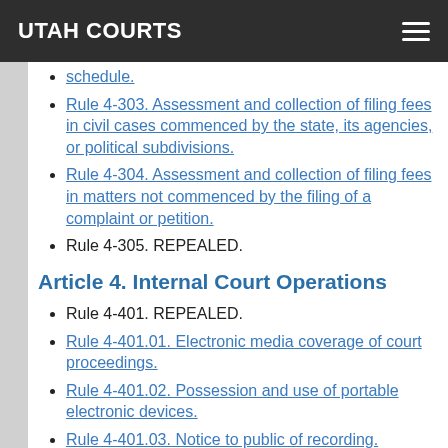UTAH COURTS
schedule.
Rule 4-303. Assessment and collection of filing fees in civil cases commenced by the state, its agencies, or political subdivisions.
Rule 4-304. Assessment and collection of filing fees in matters not commenced by the filing of a complaint or petition.
Rule 4-305. REPEALED.
Article 4. Internal Court Operations
Rule 4-401. REPEALED.
Rule 4-401.01. Electronic media coverage of court proceedings.
Rule 4-401.02. Possession and use of portable electronic devices.
Rule 4-401.03. Notice to public of recording.
Rule 4-402. Clerical resources.
Rule 4-403. Electronic signature and signature stamp use.